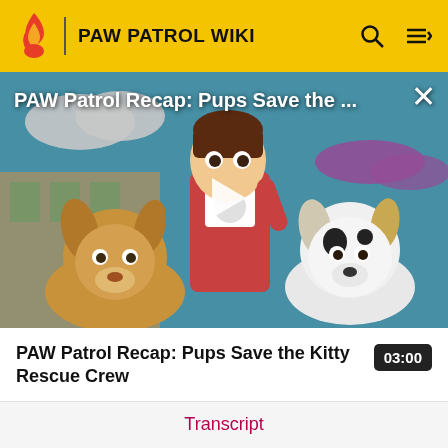PAW PATROL WIKI
[Figure (screenshot): PAW Patrol animated video thumbnail showing Ryder and pups Chase and Marshall with a play button overlay. Title reads 'PAW Patrol Recap: Pups Save the ...']
PAW Patrol Recap: Pups Save the Kitty Rescue Crew
03:00
Transcript
Trivia
Gallery